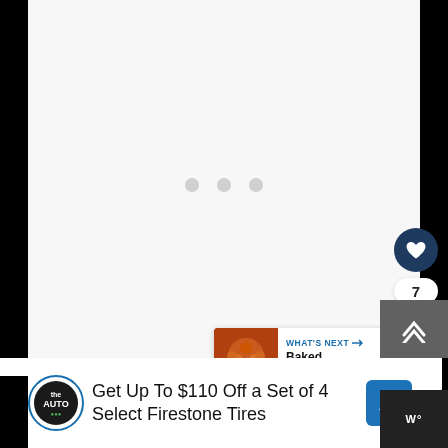[Figure (screenshot): Loading screen with three gray dots centered on a light gray background]
[Figure (infographic): Heart/like button (dark blue circle with white heart icon), count of 7, and share button (white circle with share icon)]
[Figure (screenshot): What's Next panel showing 'Baked Mozzarella...' with a food thumbnail]
[Figure (screenshot): Advertisement banner: 'Get Up To $110 Off a Set of 4 Select Firestone Tires' with The Auto logo and navigation icon]